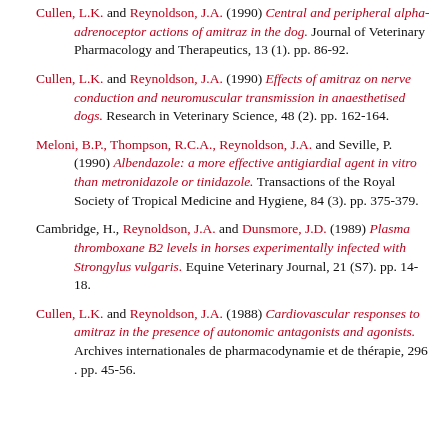Cullen, L.K. and Reynoldson, J.A. (1990) Central and peripheral alpha-adrenoceptor actions of amitraz in the dog. Journal of Veterinary Pharmacology and Therapeutics, 13 (1). pp. 86-92.
Cullen, L.K. and Reynoldson, J.A. (1990) Effects of amitraz on nerve conduction and neuromuscular transmission in anaesthetised dogs. Research in Veterinary Science, 48 (2). pp. 162-164.
Meloni, B.P., Thompson, R.C.A., Reynoldson, J.A. and Seville, P. (1990) Albendazole: a more effective antigiardial agent in vitro than metronidazole or tinidazole. Transactions of the Royal Society of Tropical Medicine and Hygiene, 84 (3). pp. 375-379.
Cambridge, H., Reynoldson, J.A. and Dunsmore, J.D. (1989) Plasma thromboxane B2 levels in horses experimentally infected with Strongylus vulgaris. Equine Veterinary Journal, 21 (S7). pp. 14-18.
Cullen, L.K. and Reynoldson, J.A. (1988) Cardiovascular responses to amitraz in the presence of autonomic antagonists and agonists. Archives internationales de pharmacodynamie et de thérapie, 296 . pp. 45-56.